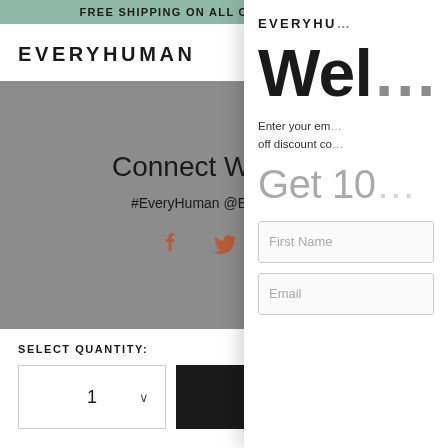FREE SHIPPING ON ALL ORDERS OVER $150
EVERYHUMAN
[Figure (screenshot): Hero grey section with 'Connect With U...' heading, '#EveryHuman @EveryHum...' tag, and Facebook/Twitter/Instagram social icons in terracotta]
SELECT QUANTITY:
1
ADD TO C...
EVERYHU...
Wel...
Enter your em... off discount co...
Get 10...
First Name
Email